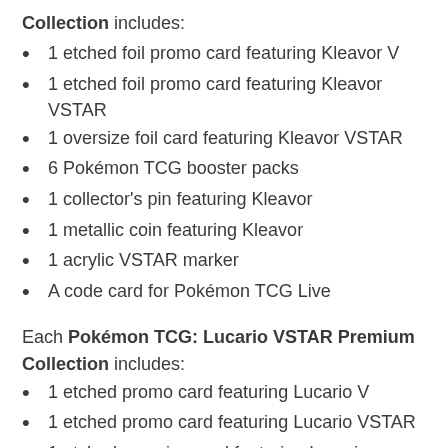Collection includes:
1 etched foil promo card featuring Kleavor V
1 etched foil promo card featuring Kleavor VSTAR
1 oversize foil card featuring Kleavor VSTAR
6 Pokémon TCG booster packs
1 collector's pin featuring Kleavor
1 metallic coin featuring Kleavor
1 acrylic VSTAR marker
A code card for Pokémon TCG Live
Each Pokémon TCG: Lucario VSTAR Premium Collection includes:
1 etched promo card featuring Lucario V
1 etched promo card featuring Lucario VSTAR
1 etched oversize card featuring Lucario VSTAR
1 colorful collector's pin featuring Lucario
1 metallic coin featuring Lucario